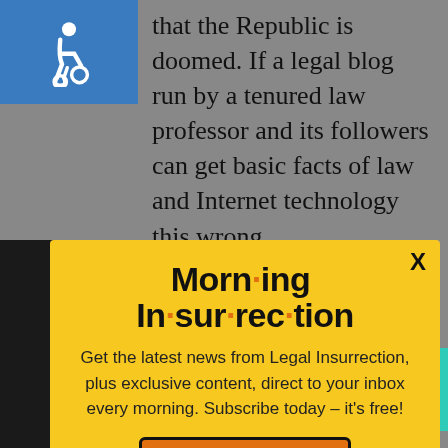[Figure (screenshot): Screenshot of a webpage with a modal popup overlay. Top section shows a teal/blue accessibility icon and article text. A yellow modal popup for 'Morning Insurrection' newsletter subscription with a JOIN NOW button overlays the page. Below the modal is a partial view of the page content and a 'THE PERSPECTIVE' advertisement banner.]
that the Republic is doomed. If a legal blog run by a tenured law professor and its followers can get basic facts of law and Internet technology this wrong
Morn·ing In·sur·rec·tion
Get the latest news from Legal Insurrection, plus exclusive content, direct to your inbox every morning. Subscribe today – it's free!
JOIN NOW
Keep those b__rs on and you you...
Back to top
THE PERSPECTIVE SEE WHAT YOU'RE MISSING READ MORE
Aarradin | October 16, 2020 at 3:36 am